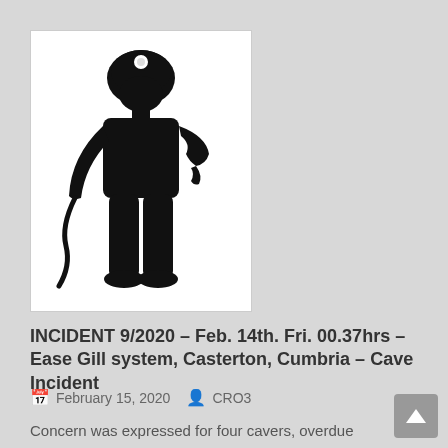[Figure (illustration): Stick figure illustration of a caver/person wearing a helmet with a headlamp, holding a rope or cable, depicted in black silhouette on white background]
INCIDENT 9/2020 – Feb. 14th. Fri. 00.37hrs – Ease Gill system, Casterton, Cumbria – Cave Incident
February 15, 2020   CRO3
Concern was expressed for four cavers, overdue between Lancaster Hole and Wretched Rabbit, in the Ease Gill system. However, realising that there was a risk of causing an unnecessary call-out, the cavers split up at Stop Pot, with the faster